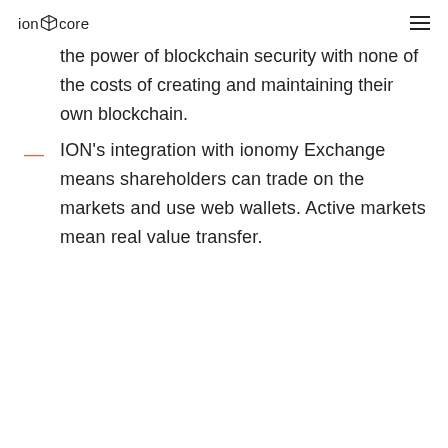ioncore
the power of blockchain security with none of the costs of creating and maintaining their own blockchain.
ION's integration with ionomy Exchange means shareholders can trade on the markets and use web wallets. Active markets mean real value transfer.